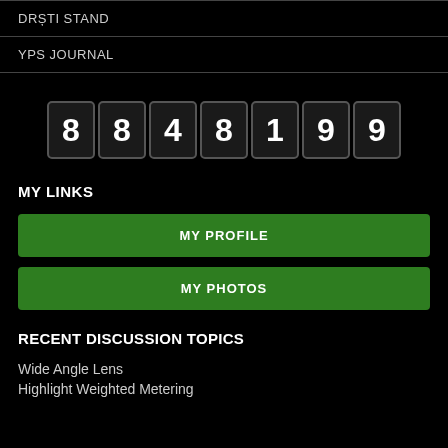DRȘTI STAND
YPS JOURNAL
[Figure (other): Odometer-style counter displaying the number 8848199]
MY LINKS
MY PROFILE
MY PHOTOS
RECENT DISCUSSION TOPICS
Wide Angle Lens
Highlight Weighted Metering